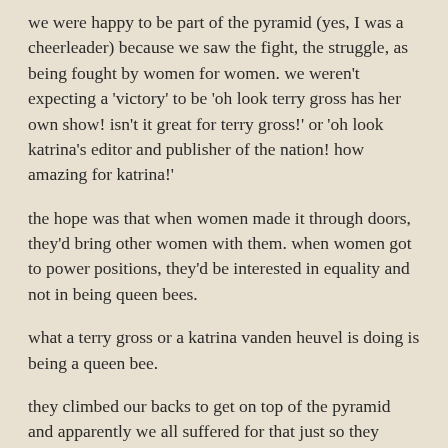we were happy to be part of the pyramid (yes, I was a cheerleader) because we saw the fight, the struggle, as being fought by women for women. we weren't expecting a 'victory' to be 'oh look terry gross has her own show! isn't it great for terry gross!' or 'oh look katrina's editor and publisher of the nation! how amazing for katrina!'
the hope was that when women made it through doors, they'd bring other women with them. when women got to power positions, they'd be interested in equality and not in being queen bees.
what a terry gross or a katrina vanden heuvel is doing is being a queen bee.
they climbed our backs to get on top of the pyramid and apparently we all suffered for that just so they could be the only woman in the room. apparently it wasn't about women, it was, for each, about themselves.
now at some point this week, katrina wrote a post on motherhood. (sometime this week because the nation